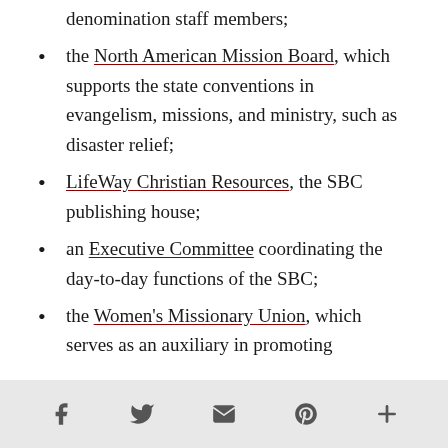denomination staff members;
the North American Mission Board, which supports the state conventions in evangelism, missions, and ministry, such as disaster relief;
LifeWay Christian Resources, the SBC publishing house;
an Executive Committee coordinating the day-to-day functions of the SBC;
the Women's Missionary Union, which serves as an auxiliary in promoting
f  twitter  email  pinterest  +